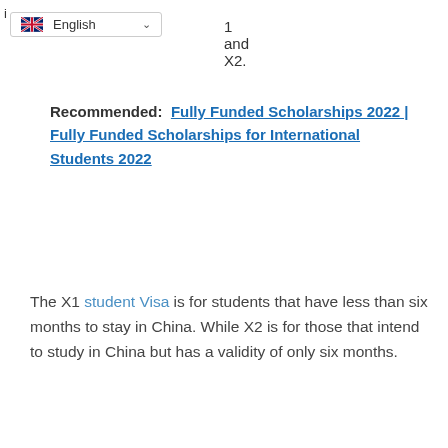i  English  ∨   1 and X2.
Recommended:  Fully Funded Scholarships 2022 | Fully Funded Scholarships for International Students 2022
The X1 student Visa is for students that have less than six months to stay in China. While X2 is for those that intend to study in China but has a validity of only six months.